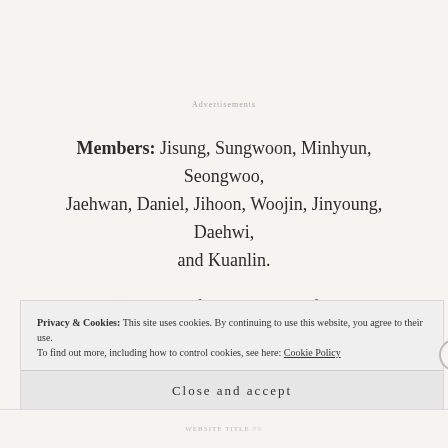Advertisements
Members: Jisung, Sungwoon, Minhyun, Seongwoo, Jaehwan, Daniel, Jihoon, Woojin, Jinyoung, Daehwi, and Kuanlin.
Fun Fact(s): Some of the members of Wanna One were originally from other groups and will continue promoting with those groups after Wanna One
Privacy & Cookies: This site uses cookies. By continuing to use this website, you agree to their use. To find out more, including how to control cookies, see here: Cookie Policy
Close and accept